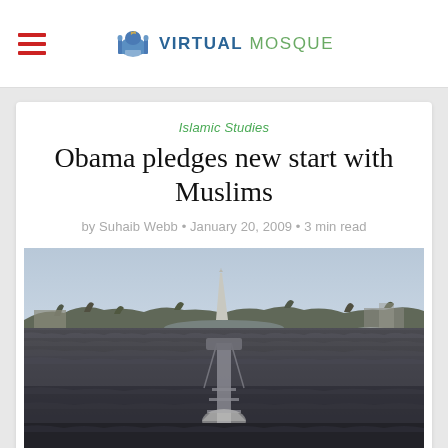VIRTUAL MOSQUE
Islamic Studies
Obama pledges new start with Muslims
by Suhaib Webb • January 20, 2009 • 3 min read
[Figure (photo): Aerial view of a massive crowd on the National Mall in Washington D.C., with the Washington Monument visible in the background, trees bare of leaves, and a camera tower structure visible in the foreground crowd.]